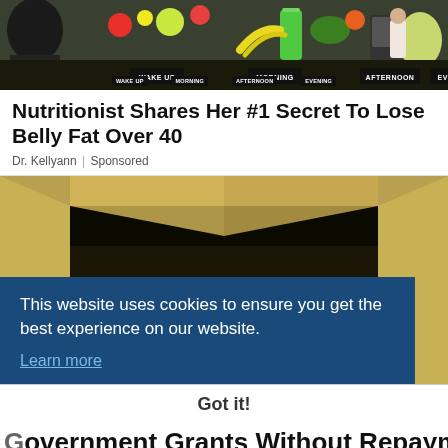[Figure (photo): Advertisement image showing a TV show set with food items and time-of-day labels: WAKE UP, MORNING, AFTERNOON, EVENING]
Nutritionist Shares Her #1 Secret To Lose Belly Fat Over 40
Dr. Kellyann | Sponsored
[Figure (photo): Cardboard box containing stacks of US dollar bills, partially obscured by a cookie consent overlay]
This website uses cookies to ensure you get the best experience on our website. Learn more
Got it!
Government Grants Without Repayment?